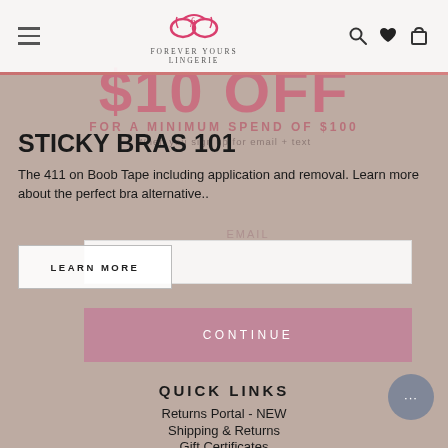[Figure (screenshot): Website screenshot of Forever Yours Lingerie e-commerce page showing navigation bar with hamburger menu, heart/search/cart icons, brand logo, a promotional modal overlay offering $10 OFF for minimum spend of $100 when signing up for email and text, an article section titled 'Sticky Bras 101', a learn more button, email input field, continue button, and quick links section with Returns Portal, Shipping & Returns, and Gift Certificates links.]